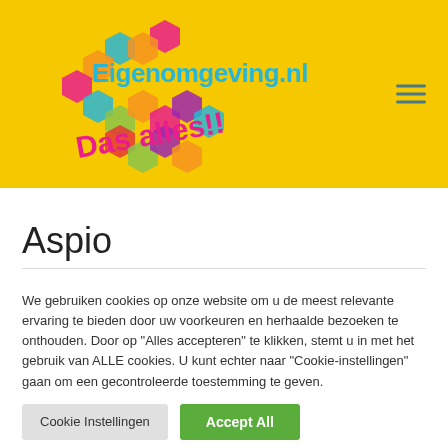[Figure (logo): Eigenomgeving.nl logo with colorful hexagons and text 'Das alles!!' on a yellow background]
Aspio
We gebruiken cookies op onze website om u de meest relevante ervaring te bieden door uw voorkeuren en herhaalde bezoeken te onthouden. Door op "Alles accepteren" te klikken, stemt u in met het gebruik van ALLE cookies. U kunt echter naar "Cookie-instellingen" gaan om een gecontroleerde toestemming te geven.
Cookie Instellingen | Accept All